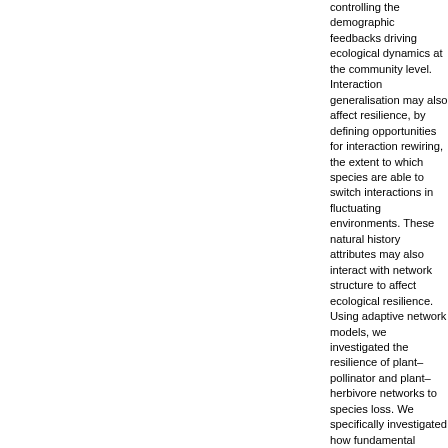controlling the demographic feedbacks driving ecological dynamics at the community level. Interaction generalisation may also affect resilience, by defining opportunities for interaction rewiring, the extent to which species are able to switch interactions in fluctuating environments. These natural history attributes may also interact with network structure to affect ecological resilience. Using adaptive network models, we investigated the resilience of plant–pollinator and plant–herbivore networks to species loss. We specifically investigated how fundamental natural history differences between these systems, namely the demographic consequences of the interaction and their level of generalisation—mediating rewiring opportunities—affect the resilience of